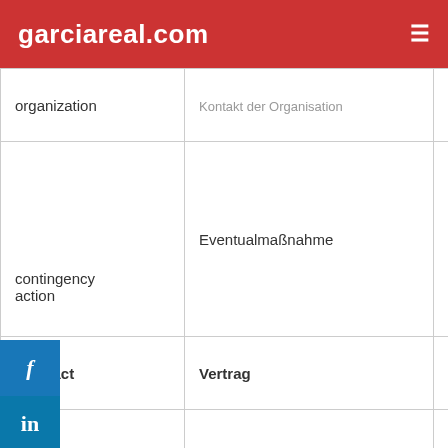garciareal.com
| organization | Kontakt der Organisation | oci… |
| contingency action | Eventualmaßnahme | acco… con… |
| contract | Vertrag | con… |
| contractor | Auftragnehmer | con… |